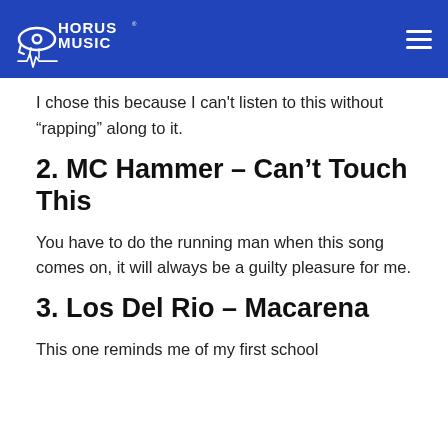Horus Music
I chose this because I can't listen to this without “rapping” along to it.
2. MC Hammer – Can’t Touch This
You have to do the running man when this song comes on, it will always be a guilty pleasure for me.
3. Los Del Rio – Macarena
This one reminds me of my first school